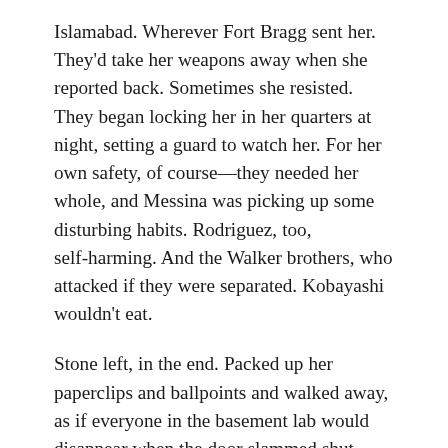Islamabad. Wherever Fort Bragg sent her. They'd take her weapons away when she reported back. Sometimes she resisted. They began locking her in her quarters at night, setting a guard to watch her. For her own safety, of course—they needed her whole, and Messina was picking up some disturbing habits. Rodriguez, too, self-harming. And the Walker brothers, who attacked if they were separated. Kobayashi wouldn't eat.
Stone left, in the end. Packed up her paperclips and ballpoints and walked away, as if everyone in the basement lab would disappear when the door slammed shut behind her. Messina was away then, on a job in the Caucasus. The tracking screen on the…